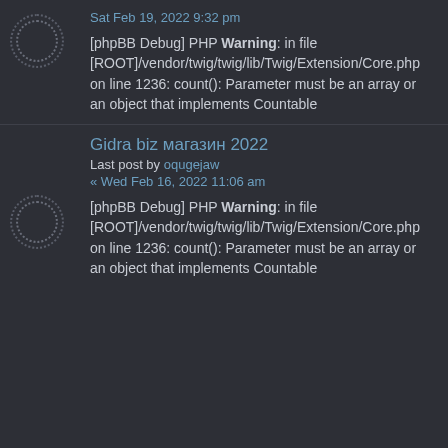Sat Feb 19, 2022 9:32 pm
[phpBB Debug] PHP Warning: in file [ROOT]/vendor/twig/twig/lib/Twig/Extension/Core.php on line 1236: count(): Parameter must be an array or an object that implements Countable
Gidra biz магазин 2022
Last post by oqugejaw
« Wed Feb 16, 2022 11:06 am
[phpBB Debug] PHP Warning: in file [ROOT]/vendor/twig/twig/lib/Twig/Extension/Core.php on line 1236: count(): Parameter must be an array or an object that implements Countable